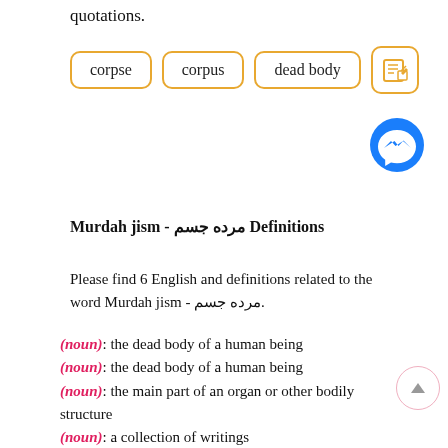quotations.
[Figure (infographic): Three rounded rectangular tag buttons labeled 'corpse', 'corpus', 'dead body' with orange borders, plus an edit icon with orange border]
[Figure (logo): Facebook Messenger blue circle icon with white lightning bolt]
Murdah jism - مرده جسم Definitions
Please find 6 English and definitions related to the word Murdah jism - مرده جسم.
(noun): the dead body of a human being
(noun): the dead body of a human being
(noun): the main part of an organ or other bodily structure
(noun): a collection of writings